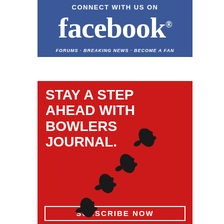[Figure (infographic): Facebook 'Connect With Us On' advertisement banner with blue background, large white Facebook wordmark, and tagline 'FORUMS · BREAKING NEWS · BECOME A FAN']
[Figure (infographic): Bowlers Journal advertisement on red background with bold white text 'STAY A STEP AHEAD WITH BOWLERS JOURNAL.' and shoe footprint graphics, with a 'SUBSCRIBE NOW' button at the bottom]